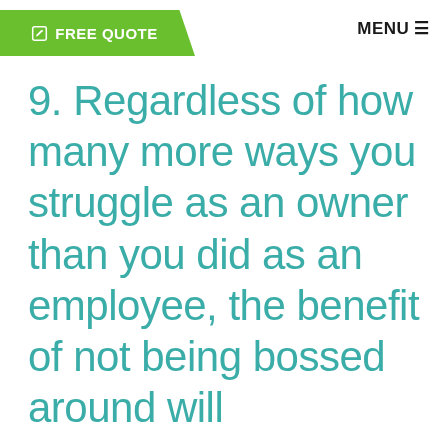FREE QUOTE   MENU
9. Regardless of how many more ways you struggle as an owner than you did as an employee, the benefit of not being bossed around will